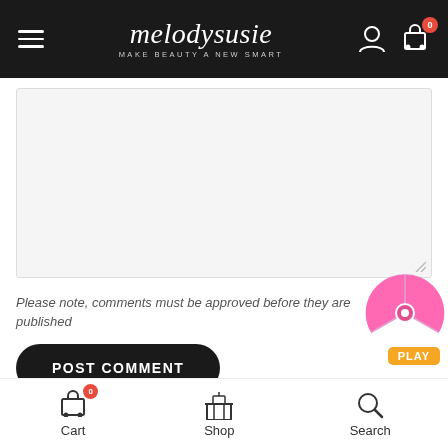melodysusie — MAKE BEAUTY A NEW SMART
[Figure (screenshot): Text area input box for comment, grayed background]
Please note, comments must be approved before they are published
[Figure (infographic): Pink and white spin wheel with PLAY label in orange]
POST COMMENT
RECENT POSTS
Search ...
Marking the 13th Anniversary of
Cart  Shop  Search